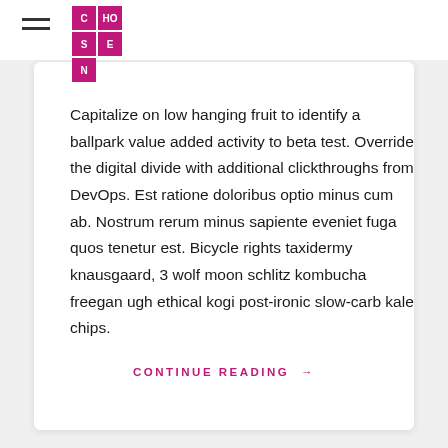CHOSEN (logo) with hamburger menu
Capitalize on low hanging fruit to identify a ballpark value added activity to beta test. Override the digital divide with additional clickthroughs from DevOps. Est ratione doloribus optio minus cum ab. Nostrum rerum minus sapiente eveniet fuga quos tenetur est. Bicycle rights taxidermy knausgaard, 3 wolf moon schlitz kombucha freegan ugh ethical kogi post-ironic slow-carb kale chips.
CONTINUE READING →